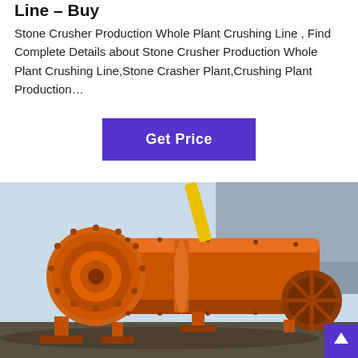Line – Buy
Stone Crusher Production Whole Plant Crushing Line , Find Complete Details about Stone Crusher Production Whole Plant Crushing Line,Stone Crasher Plant,Crushing Plant Production…
[Figure (other): Purple 'Get Price' button]
[Figure (photo): Large orange industrial ball mill machine photographed in an outdoor industrial yard, with a large cylindrical orange drum and wheel visible, against a light blue sky and grey building background.]